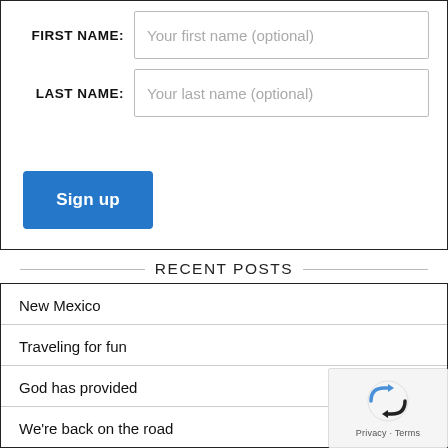FIRST NAME: Your first name (optional)
LAST NAME: Your last name (optional)
Sign up
RECENT POSTS
New Mexico
Traveling for fun
God has provided
We're back on the road